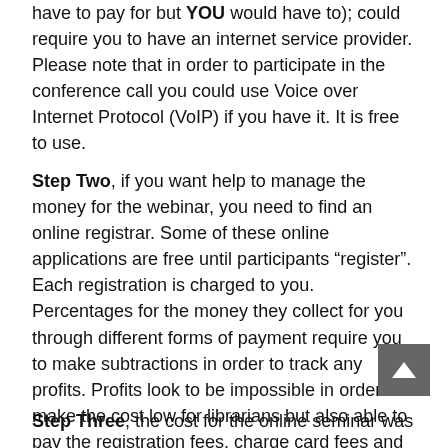have to pay for but YOU would have to); could require you to have an internet service provider. Please note that in order to participate in the conference call you could use Voice over Internet Protocol (VoIP) if you have it. It is free to use.
Step Two, if you want help to manage the money for the webinar, you need to find an online registrar. Some of these online applications are free until participants “register”. Each registration is charged to you. Percentages for the money they collect for you through different forms of payment require you to make subtractions in order to track any profits. Profits look to be impossible in order to make the cost low for librarians but also able to pay the registration fees, charge card fees and web conferencing application monthly charges with a surcharge for the phone call.
Step Three, the cost for the online seminar was